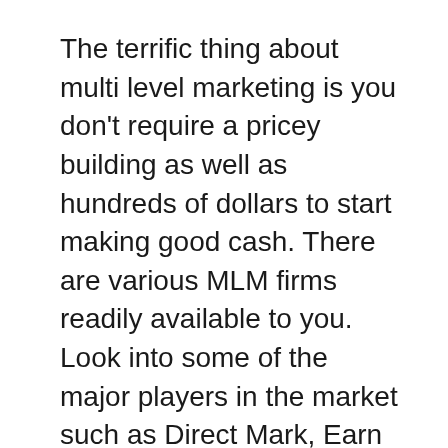The terrific thing about multi level marketing is you don't require a pricey building as well as hundreds of dollars to start making good cash. There are various MLM firms readily available to you. Look into some of the major players in the market such as Direct Mark, Earn Incentives, as well as World Class Promotions. With the ideal training as well as the best program you can be effective.
Web marketing is the most popular brand-new service possibility. It is primarily on the internet, so the knowing contour is a lot easier. Nonetheless, it does take a lot of initiative to find out how to establish your very own blog site, web site, and also MySpace or Facebook page. Nevertheless, as